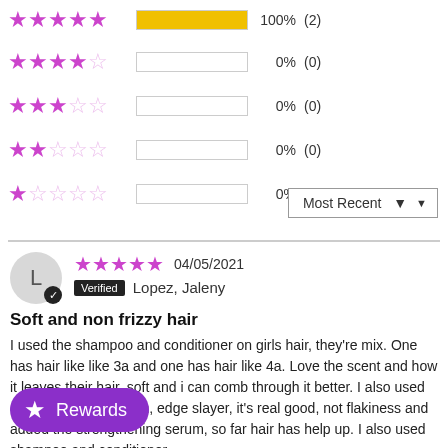[Figure (other): Star rating breakdown: 5 stars 100% (2), 4 stars 0% (0), 3 stars 0% (0), 2 stars 0% (0), 1 star 0% (0)]
Most Recent ▼
L
★★★★★ 04/05/2021
Verified  Lopez, Jaleny
Soft and non frizzy hair
I used the shampoo and conditioner on girls hair, they're mix. One has hair like like 3a and one has hair like 4a. Love the scent and how it leaves their hair, soft and i can comb through it better. I also used curl enhancer on them, edge slayer, it's real good, not flakiness and added the strengthening serum, so far hair has help up. I also used shampoo and conditioner
Rewards